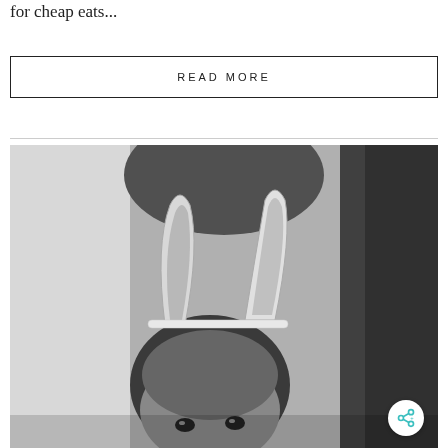for cheap eats...
READ MORE
[Figure (photo): Black and white photo of a person wearing bunny ears headband, viewed from slightly above, showing the top of their head and eyes looking up. The background is dark and blurred.]